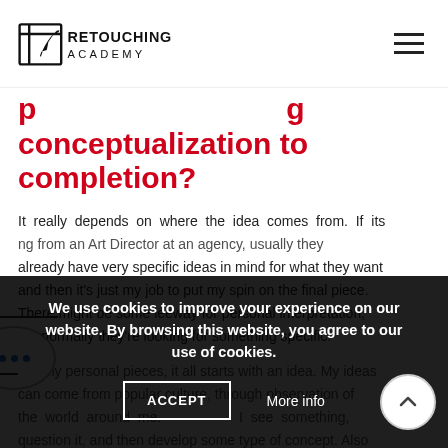Retouching Academy
conceptualization to completion?
It really depends on where the idea comes from. If its coming from an Art Director at an agency, usually they already have very specific ideas in mind for what they want and then it's just my job to put my spin on the final piece. There might be some leeway for personal interpretation, but normally they're looking for something specific.
For my personal pieces, it all starts with an idea. My ideas can come from popular culture, through observation of the world around me. If I see something, question it, and then develop some type of concept. Also looking at artwork and stock photography. There
We use cookies to improve your experience on our website. By browsing this website, you agree to our use of cookies.